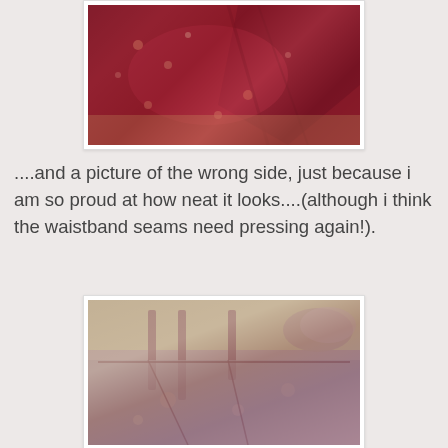[Figure (photo): Photo of the right side of a floral red/crimson skirt fabric laid flat, showing the outer decorative surface with floral pattern]
....and a picture of the wrong side, just because i am so proud at how neat it looks....(although i think the waistband seams need pressing again!).
[Figure (photo): Photo of the wrong (inside) side of the floral skirt, showing neat seams and waistband construction with visible stitching lines]